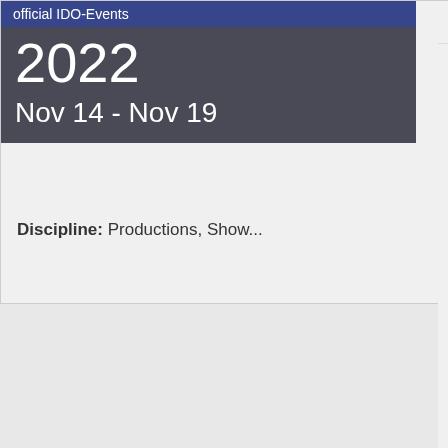official IDO-Events
2022
Nov 14 - Nov 19
Discipline: Productions, Show...
details
official IDO-Events
2022
Nov 22 - Nov 26
Discipline: Productions, Tap D...